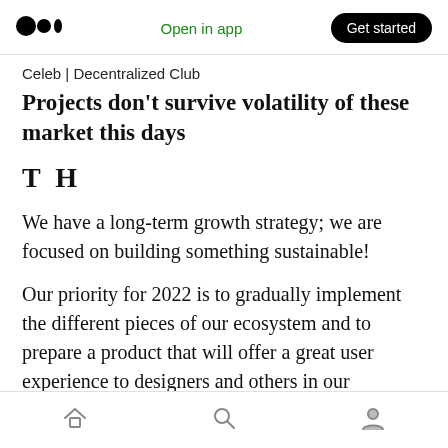Medium logo | Open in app | Get started
Celeb | Decentralized Club
Projects don’t survive volatility of these market this days
T H
We have a long-term growth strategy; we are focused on building something sustainable!
Our priority for 2022 is to gradually implement the different pieces of our ecosystem and to prepare a product that will offer a great user experience to designers and others in our
Home | Search | Profile